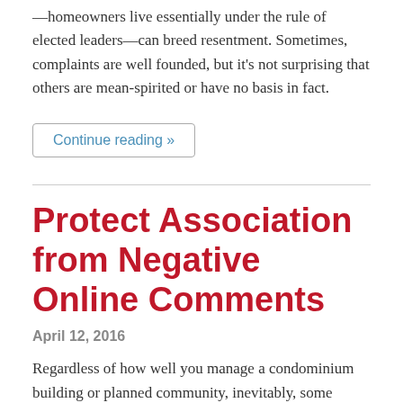—homeowners live essentially under the rule of elected leaders—can breed resentment. Sometimes, complaints are well founded, but it's not surprising that others are mean-spirited or have no basis in fact.
Continue reading »
Protect Association from Negative Online Comments
April 12, 2016
Regardless of how well you manage a condominium building or planned community, inevitably, some homeowners will complain. Not everyone will agree on decisions that are made. And the way in which